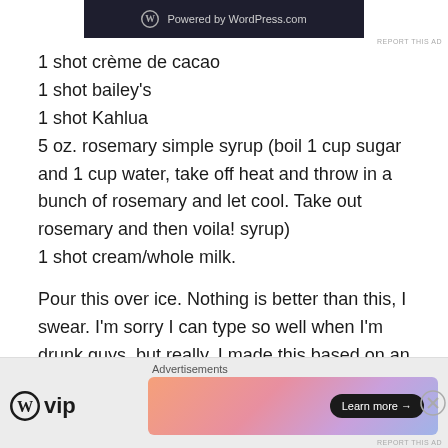[Figure (screenshot): WordPress.com powered banner in dark background]
REPORT THIS AD
1 shot crème de cacao
1 shot bailey's
1 shot Kahlua
5 oz. rosemary simple syrup (boil 1 cup sugar and 1 cup water, take off heat and throw in a bunch of rosemary and let cool. Take out rosemary and then voila! syrup)
1 shot cream/whole milk.
Pour this over ice. Nothing is better than this, I swear. I’m sorry I can type so well when I’m drunk guys, but really. I made this based on an ice cream flavor at the Bent Spoon
[Figure (screenshot): WordPress VIP advertisement banner with Learn more button]